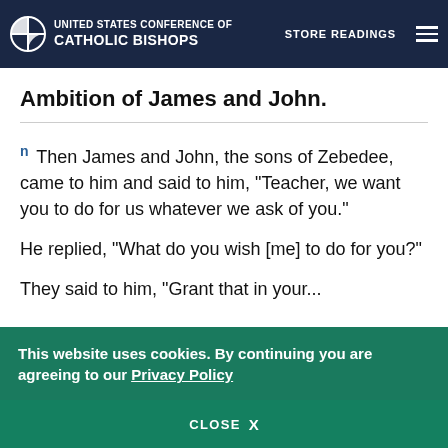United States Conference of Catholic Bishops | STORE | READINGS
Ambition of James and John.
n Then James and John, the sons of Zebedee, came to him and said to him, “Teacher, we want you to do for us whatever we ask of you.”
He replied, “What do you wish [me] to do for you?”
This website uses cookies. By continuing you are agreeing to our Privacy Policy
CLOSE X